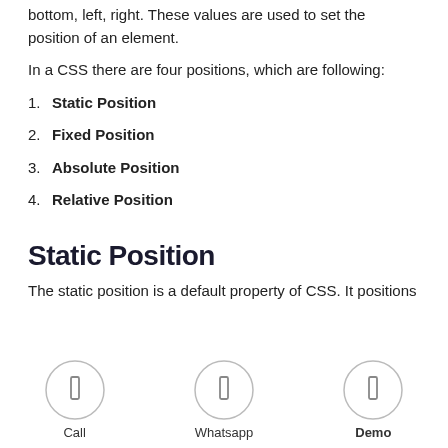bottom, left, right. These values are used to set the position of an element.
In a CSS there are four positions, which are following:
1. Static Position
2. Fixed Position
3. Absolute Position
4. Relative Position
Static Position
The static position is a default property of CSS. It positions
[Figure (other): Bottom navigation bar with three circular icon buttons labeled Call, Whatsapp, and Demo (bold)]